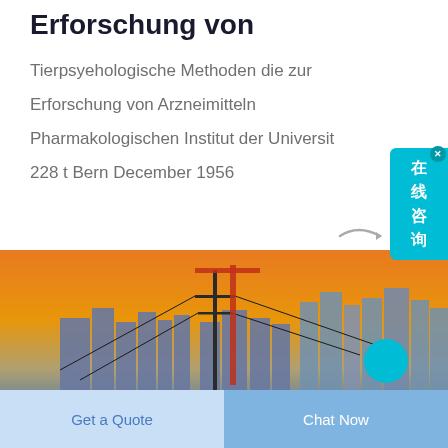Erforschung von
Tierpsyehologische Methoden die zur Erforschung von Arzneimitteln Pharmakologischen Institut der Universit 228 t Bern December 1956
[Figure (photo): City skyline silhouetted against an orange and blue sunset sky, with tall buildings, a utility pole, trees in the foreground]